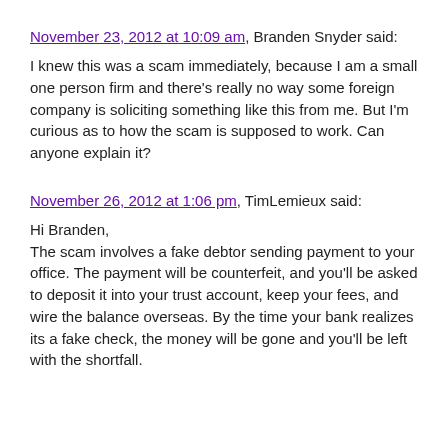November 23, 2012 at 10:09 am, Branden Snyder said:
I knew this was a scam immediately, because I am a small one person firm and there's really no way some foreign company is soliciting something like this from me. But I'm curious as to how the scam is supposed to work. Can anyone explain it?
November 26, 2012 at 1:06 pm, TimLemieux said:
Hi Branden,
The scam involves a fake debtor sending payment to your office. The payment will be counterfeit, and you'll be asked to deposit it into your trust account, keep your fees, and wire the balance overseas. By the time your bank realizes its a fake check, the money will be gone and you'll be left with the shortfall.